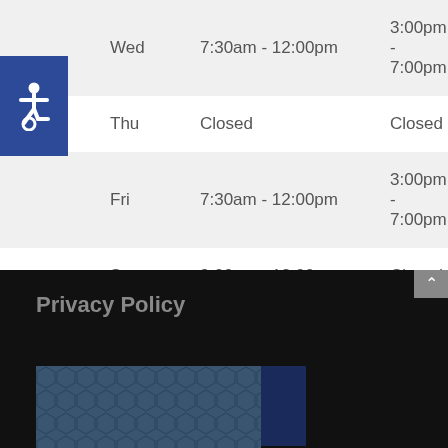| Day | Morning | Afternoon |
| --- | --- | --- |
| Wed | 7:30am - 12:00pm | 3:00pm - 7:00pm |
| Thu | Closed | Closed |
| Fri | 7:30am - 12:00pm | 3:00pm - 7:00pm |
| Sat | 9:00am - 12:00pm | Closed |
| Sun | Closed | Closed |
[Figure (illustration): Accessibility (wheelchair) icon — white wheelchair symbol on dark blue square background]
Privacy Policy
[Figure (photo): Dark blue hexagonal patterned image with a vertical dark navy blue strip on the right side, partially visible at bottom of page]